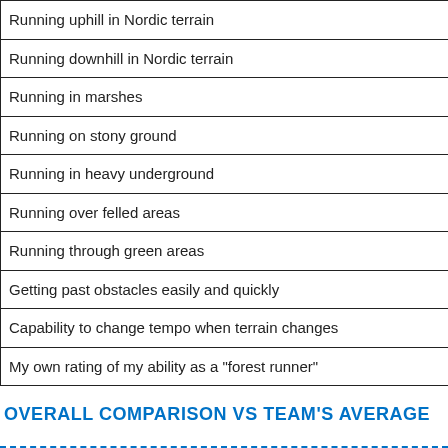| Running uphill in Nordic terrain |
| Running downhill in Nordic terrain |
| Running in marshes |
| Running on stony ground |
| Running in heavy underground |
| Running over felled areas |
| Running through green areas |
| Getting past obstacles easily and quickly |
| Capability to change tempo when terrain changes |
| My own rating of my ability as a "forest runner" |
OVERALL COMPARISON VS TEAM'S AVERAGE
[Figure (photo): Image labeled 'maiju']